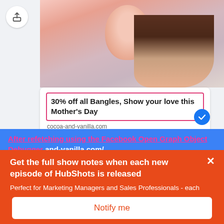[Figure (screenshot): Screenshot of a Facebook mobile app post showing a mother holding a baby with a product card. The card shows '30% off all Bangles, Show your love this Mother’s Day' with URL cocoa-and-vanilla.com. Below is text in pink/magenta: 'After refetching using the Facebook Open Graph Object Debugger' followed by a URL 'and-vanilla.com/'. An orange popup overlay reads 'Get the full show notes when each new episode of HubShots is released' with subtext 'Perfect for Marketing Managers and Sales Professionals - each week we discuss inbound marketing, industry trends and HubSpot tips.' and a 'Notify me' button.]
30% off all Bangles, Show your love this Mother's Day
cocoa-and-vanilla.com
After refetching using the Facebook Open Graph Object Debugger and-vanilla.com/
Get the full show notes when each new episode of HubShots is released
Perfect for Marketing Managers and Sales Professionals - each week we discuss inbound marketing, industry trends and HubSpot tips.
Notify me